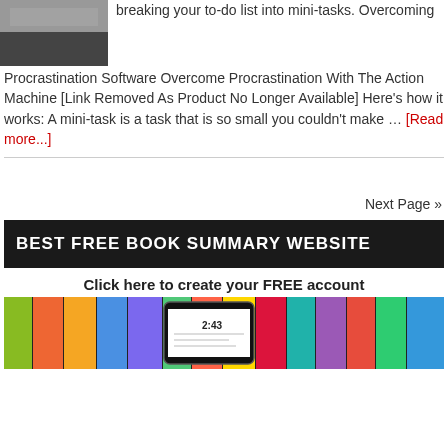[Figure (photo): Small thumbnail image, dark/greyscale landscape or abstract photo]
breaking your to-do list into mini-tasks. Overcoming Procrastination Software Overcome Procrastination With The Action Machine [Link Removed As Product No Longer Available] Here's how it works: A mini-task is a task that is so small you couldn't make … [Read more...]
Next Page »
[Figure (screenshot): Dark banner with text: BEST FREE BOOK SUMMARY WEBSITE]
Click here to create your FREE account
[Figure (screenshot): Row of colorful book covers with a smartphone overlay showing 2:43]